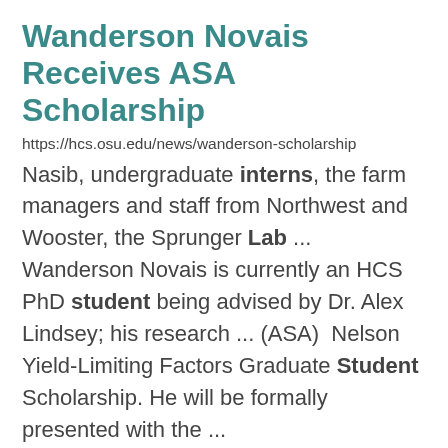Wanderson Novais Receives ASA Scholarship
https://hcs.osu.edu/news/wanderson-scholarship
Nasib, undergraduate interns, the farm managers and staff from Northwest and Wooster, the Sprunger Lab ... Wanderson Novais is currently an HCS PhD student being advised by Dr. Alex Lindsey; his research ... (ASA)  Nelson Yield-Limiting Factors Graduate Student Scholarship. He will be formally presented with the ...
Keyvan Maleki
https://hcs.osu.edu/our-people/keyvan-maleki